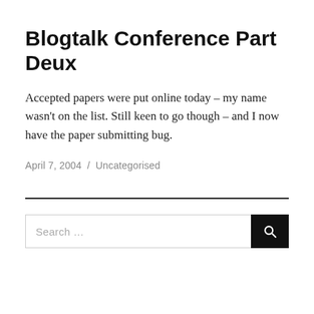Blogtalk Conference Part Deux
Accepted papers were put online today – my name wasn't on the list. Still keen to go though – and I now have the paper submitting bug.
April 7, 2004  /  Uncategorised